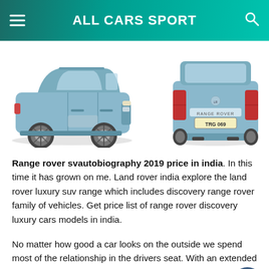ALL CARS SPORT
[Figure (photo): Two photos of a blue Range Rover SVAutobiography 2019: side profile on the left and rear three-quarter view on the right.]
Range rover svautobiography 2019 price in india. In this time it has grown on me. Land rover india explore the land rover luxury suv range which includes discovery range rover family of vehicles. Get price list of range rover discovery luxury cars models in india.
No matter how good a car looks on the outside we spend most of the relationship in the drivers seat. With an extended warranty your land rover will be looked after by technicians who always go the extra mile giving you the